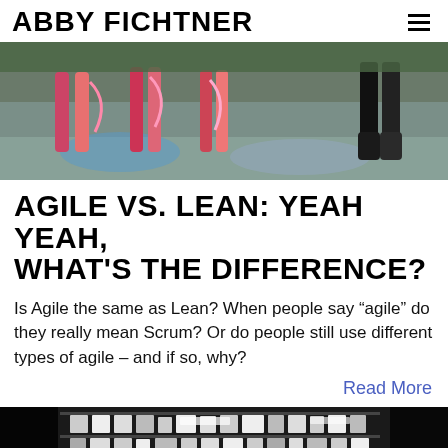ABBY FICHTNER
[Figure (photo): Cropped photo showing legs and feet of performers on a reflective stage floor, colorful ribbons or costumes visible]
AGILE VS. LEAN: YEAH YEAH, WHAT'S THE DIFFERENCE?
Is Agile the same as Lean? When people say “agile” do they really mean Scrum? Or do people still use different types of agile – and if so, why?
Read More
[Figure (photo): Black and white photo of a store front or shop display with shelves of products and signage visible]